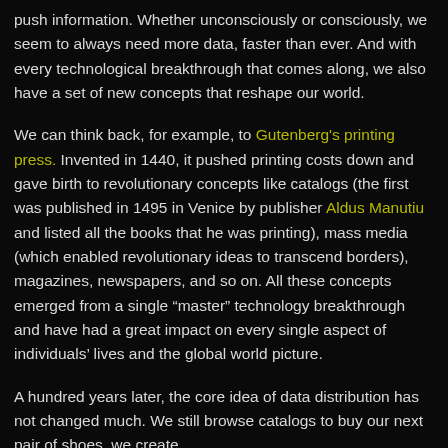push information. Whether unconsciously or consciously, we seem to always need more data, faster than ever. And with every technological breakthrough that comes along, we also have a set of new concepts that reshape our world.
We can think back, for example, to Gutenberg's printing press. Invented in 1440, it pushed printing costs down and gave birth to revolutionary concepts like catalogs (the first was published in 1495 in Venice by publisher Aldus Manutiu and listed all the books that he was printing), mass media (which enabled revolutionary ideas to transcend borders), magazines, newspapers, and so on. All these concepts emerged from a single “master” technology breakthrough and have had a great impact on every single aspect of individuals’ lives and the global world picture.
A hundred years later, the core idea of data distribution has not changed much. We still browse catalogs to buy our next pair of shoes, we create